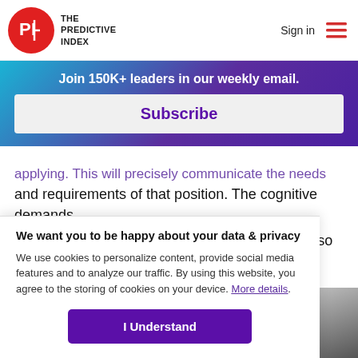[Figure (logo): The Predictive Index logo: red circle with PI letters and text 'THE PREDICTIVE INDEX']
Sign in
[Figure (other): Hamburger menu icon with three red horizontal lines]
Join 150K+ leaders in our weekly email.
Subscribe
and requirements of that position. The cognitive demands of the work environment may change over time so cognitive assessments can be given to existing employees
We want you to be happy about your data & privacy
We use cookies to personalize content, provide social media features and to analyze our traffic. By using this website, you agree to the storing of cookies on your device. More details.
I Understand